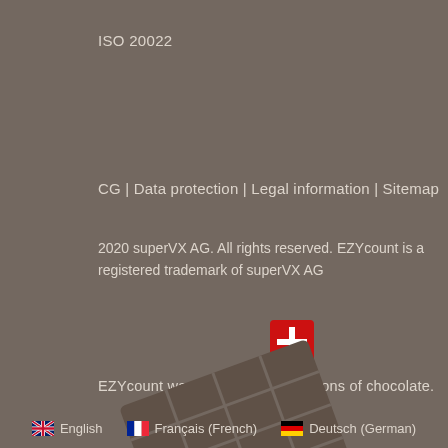ISO 20022
CG | Data protection | Legal information | Sitemap
2020 superVX AG. All rights reserved. EZYcount is a registered trademark of superVX AG
[Figure (illustration): Swiss flag icon - red square with white cross]
EZYcount was created by eating tons of chocolate.
[Figure (illustration): Chocolate bar illustration in dark brownish-grey silhouette]
English | Français (French) | Deutsch (German)